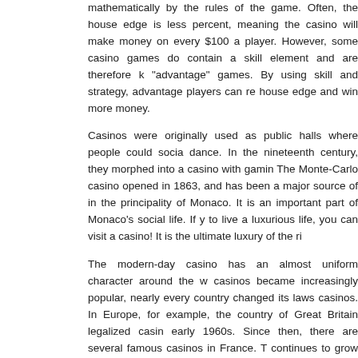mathematically by the rules of the game. Often, the house edge is less percent, meaning the casino will make money on every $100 a player. However, some casino games do contain a skill element and are therefore known as "advantage" games. By using skill and strategy, advantage players can reduce the house edge and win more money.
Casinos were originally used as public halls where people could socialize and dance. In the nineteenth century, they morphed into a casino with gaming rooms. The Monte-Carlo casino opened in 1863, and has been a major source of income for the principality of Monaco. It is an important part of Monaco's social life. If you want to live a luxurious life, you can visit a casino! It is the ultimate luxury of the rich.
The modern-day casino has an almost uniform character around the world. As casinos became increasingly popular, nearly every country changed its laws to permit casinos. In Europe, for example, the country of Great Britain legalized casinos in the early 1960s. Since then, there are several famous casinos in France. The industry continues to grow today. However, if you're interested in gambling, make sure to check out the laws in your state. Just keep in mind that the casino you visit isn't necessarily the one that suits your needs.
Gambling should not be your primary source of income. The purpose of gambling is to enjoy yourself, and it is only for entertainment. Therefore, set a limit and stick to it. You can't afford to lose all of your money at once, so don't get carried away. Instead, try to stick to your budget and limit your playing time. Ultimately, you won't regret your decision. While it's fun to win big, the casino is a place where you should limit yourself to a reasonable amount.
Posted in Gambling | Comments Closed